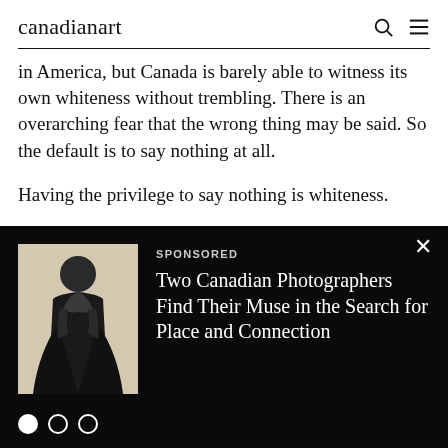canadianart
in America, but Canada is barely able to witness its own whiteness without trembling. There is an overarching fear that the wrong thing may be said. So the default is to say nothing at all.
Having the privilege to say nothing is whiteness.
Silence perpetuates whiteness as a universal state of being.
Status quo remains the same.
[Figure (photo): Artistic photo of a dark-toned human figure in a dark flowing garment against light background, shown from torso up]
SPONSORED
Two Canadian Photographers Find Their Muse in the Search for Place and Connection